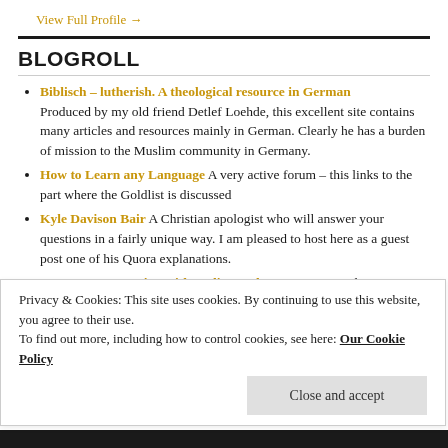View Full Profile →
BLOGROLL
Biblisch – lutherish. A theological resource in German Produced by my old friend Detlef Loehde, this excellent site contains many articles and resources mainly in German. Clearly he has a burden of mission to the Muslim community in Germany.
How to Learn any Language A very active forum – this links to the part where the Goldlist is discussed
Kyle Davison Bair A Christian apologist who will answer your questions in a fairly unique way. I am pleased to host here as a guest post one of his Quora explanations.
Language Mentoring with Lydia Machova. A great site by
Privacy & Cookies: This site uses cookies. By continuing to use this website, you agree to their use. To find out more, including how to control cookies, see here: Our Cookie Policy
Close and accept